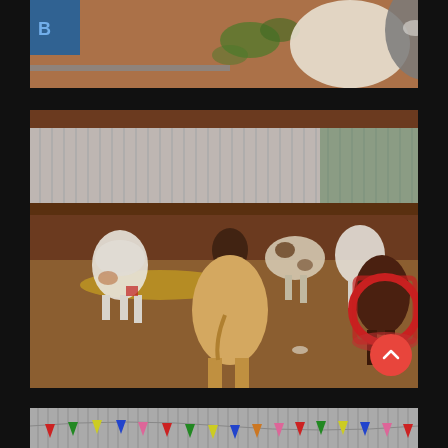[Figure (photo): Partial view of donkeys/horses near a feed trough, with ivy/vines on a warm-toned wall and a blue sign visible. Close-up of animal heads and backs.]
[Figure (photo): Indoor farm/barn scene with multiple small donkeys and horses of various colors (white, brown, dark brown, spotted) milling about on a concrete floor covered with straw/grain. A red circular hay feeder is visible on the right. A corrugated metal fence/wall runs across the background with green netting.]
[Figure (photo): Partial bottom view of a barn or fair with colorful triangular bunting/pennant flags (red, green, yellow, blue, pink) strung across the interior, with corrugated metal walls visible.]